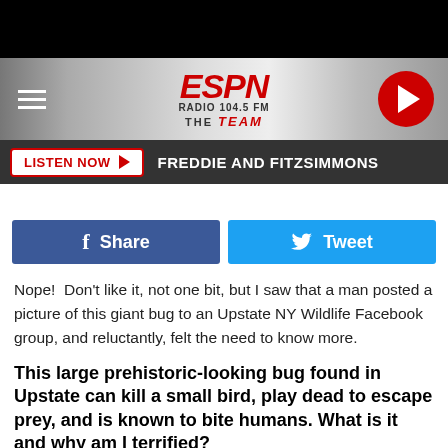[Figure (screenshot): ESPN Radio 104.5 FM The Team website header with logo, hamburger menu, and play button]
LISTEN NOW  FREDDIE AND FITZSIMMONS
[Figure (other): Facebook Share and Twitter Tweet buttons]
Nope!  Don't like it, not one bit, but I saw that a man posted a picture of this giant bug to an Upstate NY Wildlife Facebook group, and reluctantly, felt the need to know more.
This large prehistoric-looking bug found in Upstate can kill a small bird, play dead to escape prey, and is known to bite humans. What is it and why am I terrified?
While it may not be quite as horrifying as the silverfish I had